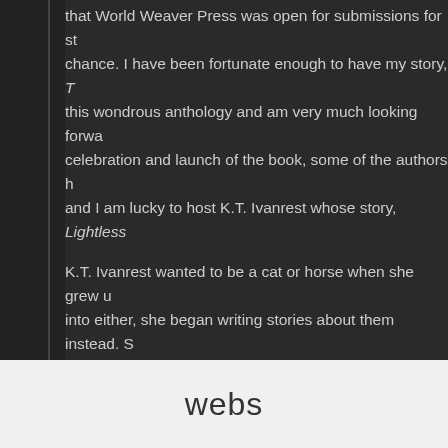that World Weaver Press was open for submissions for st chance. I have been fortunate enough to have my story, T this wondrous anthology and am very much looking forwa celebration and launch of the book, some of the authors h and I am lucky to host K.T. Ivanrest whose story, Lightless
K.T. Ivanrest wanted to be a cat or horse when she grew u into either, she began writing stories about them instead. S the cats sprouted wings, and once the dragons arrived, th writing, Kate can be found sewing and drinking decaf coffe Studies, which will come in handy when aliens finally mak Latin. She keeps a website here.
Four (and a Half) Fun Facts about Lig
webs